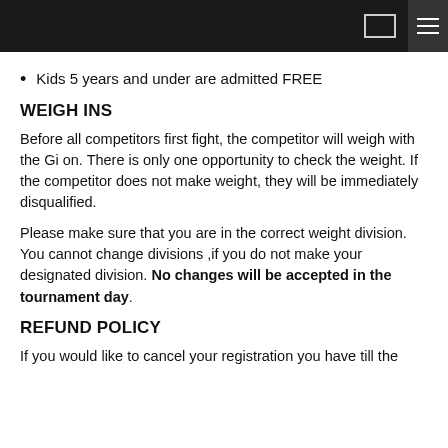Kids 5 years and under are admitted FREE
WEIGH INS
Before all competitors first fight, the competitor will weigh with the Gi on. There is only one opportunity to check the weight. If the competitor does not make weight, they will be immediately disqualified.
Please make sure that you are in the correct weight division. You cannot change divisions ,if you do not make your designated division. No changes will be accepted in the tournament day.
REFUND POLICY
If you would like to cancel your registration you have till the